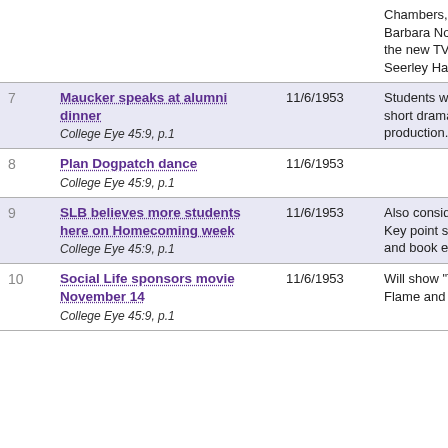| # | Title | Date | Description |
| --- | --- | --- | --- |
|  | Chambers, and Barbara Norris enjoy the new TV in Seerley Hall. |  |  |
| 7 | Maucker speaks at alumni dinner
College Eye 45:9, p.1 | 11/6/1953 | Students will present short dramatic production. |
| 8 | Plan Dogpatch dance
College Eye 45:9, p.1 | 11/6/1953 |  |
| 9 | SLB believes more students here on Homecoming week
College Eye 45:9, p.1 | 11/6/1953 | Also consider Purple Key point system and book exchange. |
| 10 | Social Life sponsors movie November 14
College Eye 45:9, p.1 | 11/6/1953 | Will show "The Flame and the..." |